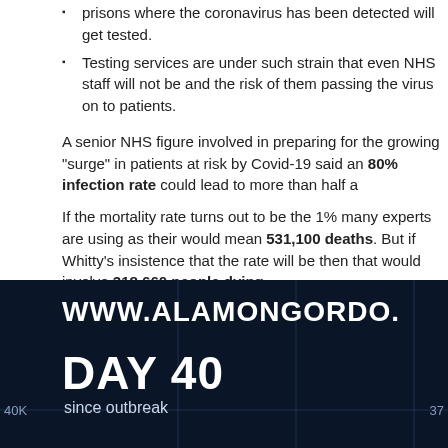prisons where the coronavirus has been detected will get tested.
Testing services are under such strain that even NHS staff will not be and the risk of them passing the virus on to patients.
A senior NHS figure involved in preparing for the growing “surge” in patients at risk by Covid-19 said an 80% infection rate could lead to more than half a
If the mortality rate turns out to be the 1% many experts are using as their would mean 531,100 deaths. But if Whitty’s insistence that the rate will be then that would involve 318,660 people dying.
Experts advising governments worldwide on the way epidemics grow and be a rapid rise in cases to a peak – and then a falling off. Whitty, who has and global scientists, says the case numbers will go up fast over the n
[Figure (screenshot): Dark navy background chart showing WWW.ALAMONGORDO. text at top, large text DAY 40 since outbreak, 40K label on left axis, 37 on right side]